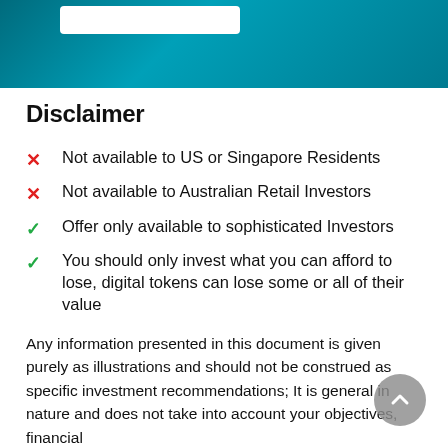Disclaimer
Not available to US or Singapore Residents
Not available to Australian Retail Investors
Offer only available to sophisticated Investors
You should only invest what you can afford to lose, digital tokens can lose some or all of their value
Any information presented in this document is given purely as illustrations and should not be construed as specific investment recommendations; It is general in nature and does not take into account your objectives, financial